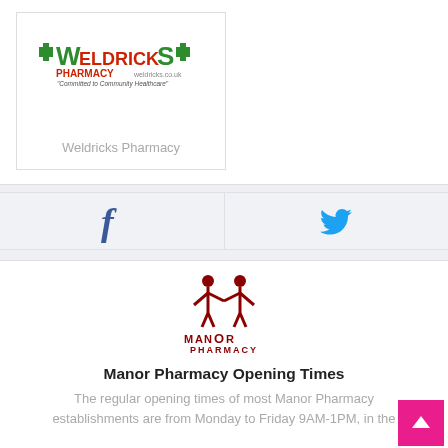[Figure (logo): Weldricks Pharmacy logo with green crosses and red/green text. Tagline: 'Committed to Community Healthcare']
Weldricks Pharmacy
[Figure (logo): Facebook 'f' icon in dark blue]
[Figure (logo): Twitter bird icon in blue]
[Figure (logo): Manor Pharmacy logo: stylized M with two figures, dark red text reading ManorR Pharmacy]
Manor Pharmacy Opening Times
The regular opening times of most Manor Pharmacy establishments are from Monday to Friday 9AM-1PM, in the